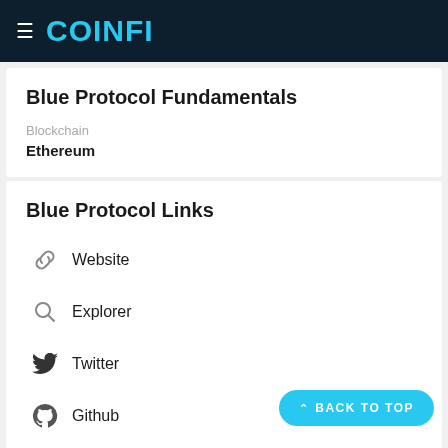COINFI
Blue Protocol Fundamentals
Blockchain
Ethereum
Blue Protocol Links
Website
Explorer
Twitter
Github
Telegram